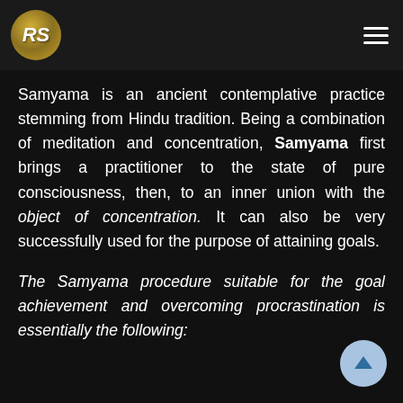[Figure (logo): RS logo circle with gold gradient and hamburger menu on dark header bar]
Samyama is an ancient contemplative practice stemming from Hindu tradition. Being a combination of meditation and concentration, Samyama first brings a practitioner to the state of pure consciousness, then, to an inner union with the object of concentration. It can also be very successfully used for the purpose of attaining goals.
The Samyama procedure suitable for the goal achievement and overcoming procrastination is essentially the following: